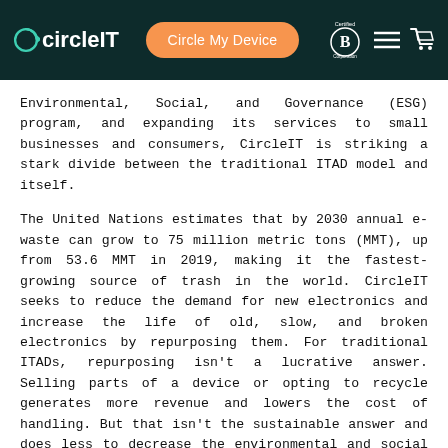CircleIT — Circle My Device — Certified B Corporation
Environmental, Social, and Governance (ESG) program, and expanding its services to small businesses and consumers, CircleIT is striking a stark divide between the traditional ITAD model and itself.
The United Nations estimates that by 2030 annual e-waste can grow to 75 million metric tons (MMT), up from 53.6 MMT in 2019, making it the fastest-growing source of trash in the world. CircleIT seeks to reduce the demand for new electronics and increase the life of old, slow, and broken electronics by repurposing them. For traditional ITADs, repurposing isn't a lucrative answer. Selling parts of a device or opting to recycle generates more revenue and lowers the cost of handling. But that isn't the sustainable answer and does less to decrease the environmental and social burdens of e-waste. By repurposing devices whole or refurbishing older parts for reuse, CircleIT is extending the life of would-be trash and helping meet the growing demand for all types of electronics. This helps eliminate the carbon emissions of mining, manufacturing, and shipping new devices, shrink the waste stream of electronics ending up in landfills and helps bridge the digital divide.